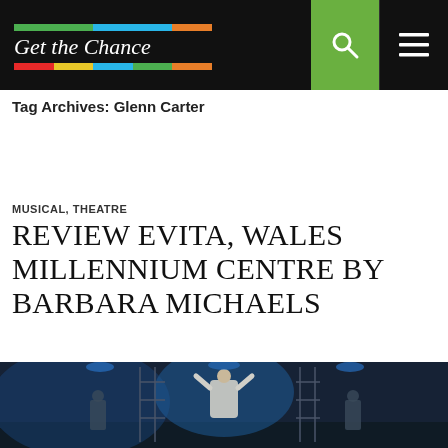Get the Chance
Tag Archives: Glenn Carter
MUSICAL, THEATRE
REVIEW EVITA, WALES MILLENNIUM CENTRE BY BARBARA MICHAELS
AUGUST 29, 2018  BARBARAMICHAELS  LEAVE A COMMENT
[Figure (photo): Stage performance photo of Evita at Wales Millennium Centre, showing a performer in a white dress with arms raised, on a theatrical set with blue lighting]